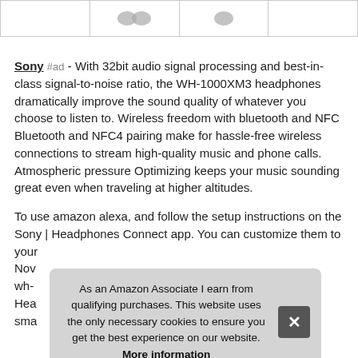[Figure (photo): Row of four product image cells (headphones thumbnails) with borders]
Sony #ad - With 32bit audio signal processing and best-in-class signal-to-noise ratio, the WH-1000XM3 headphones dramatically improve the sound quality of whatever you choose to listen to. Wireless freedom with bluetooth and NFC Bluetooth and NFC4 pairing make for hassle-free wireless connections to stream high-quality music and phone calls. Atmospheric pressure Optimizing keeps your music sounding great even when traveling at higher altitudes.
To use amazon alexa, and follow the setup instructions on the Sony | Headphones Connect app. You can customize them to your...
As an Amazon Associate I earn from qualifying purchases. This website uses the only necessary cookies to ensure you get the best experience on our website. More information